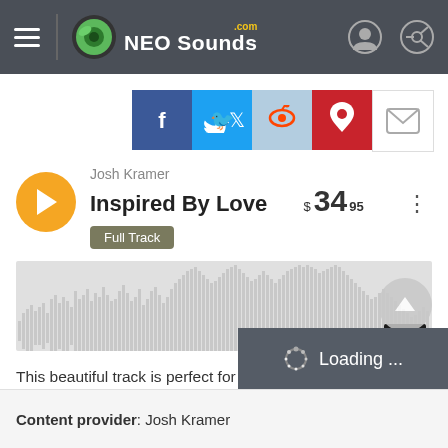NEO Sounds .com
[Figure (screenshot): Social share buttons: Facebook, Twitter, Reddit, Pinterest, Email]
Josh Kramer
Inspired By Love
$34.95
Full Track
[Figure (continuous-plot): Audio waveform visualization showing amplitude over time for the track 'Inspired By Love', duration 2:53]
This beautiful track is perfect for anything that needs a romantic or inspired feel including weddings, inspiring video montages, documentary, films, tv ads, and more.
Loading ...
Content provider: Josh Kramer